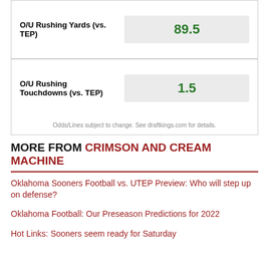| Prop | Line |
| --- | --- |
| O/U Rushing Yards (vs. TEP) | 89.5 |
| O/U Rushing Touchdowns (vs. TEP) | 1.5 |
Odds/Lines subject to change. See draftkings.com for details.
MORE FROM CRIMSON AND CREAM MACHINE
Oklahoma Sooners Football vs. UTEP Preview: Who will step up on defense?
Oklahoma Football: Our Preseason Predictions for 2022
Hot Links: Sooners seem ready for Saturday